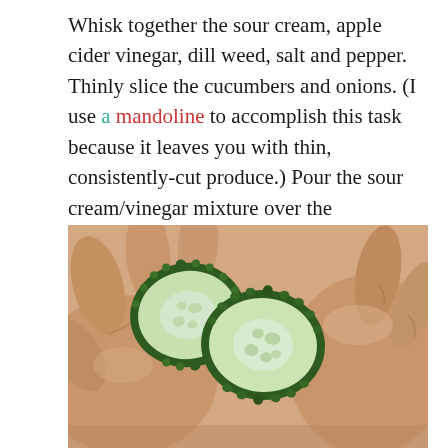Whisk together the sour cream, apple cider vinegar, dill weed, salt and pepper. Thinly slice the cucumbers and onions. (I use a mandoline to accomplish this task because it leaves you with thin, consistently-cut produce.) Pour the sour cream/vinegar mixture over the cucumbers and onions. Mix until combined. Refrigerate until ready to serve. Enjoy!
[Figure (photo): A hand holding two thin slices of cucumber, showing the pale green interior and dark green ridged edge.]